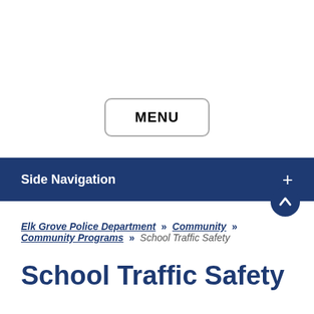[Figure (screenshot): MENU button with rounded rectangle border]
Side Navigation +
Elk Grove Police Department » Community » Community Programs » School Traffic Safety
School Traffic Safety